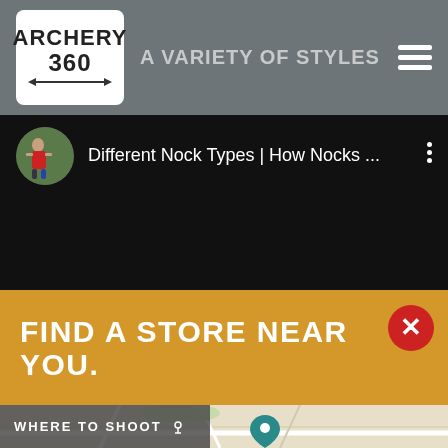[Figure (screenshot): Archery 360 website header with logo, tagline 'A VARIETY OF STYLES', and hamburger menu]
[Figure (screenshot): YouTube video thumbnail area showing 'Different Nock Types | How Nocks ...' with circular avatar of archer]
FIND A STORE NEAR YOU.
[Figure (map): Street map with teal location pin and 'WHERE TO SHOOT' label overlay]